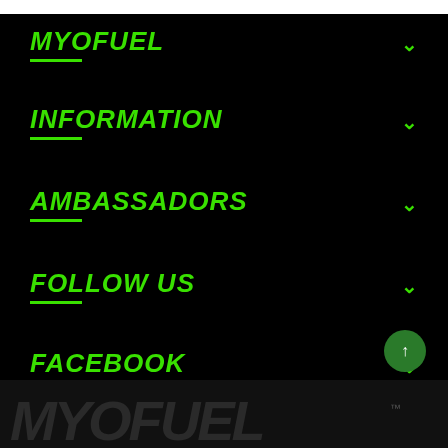MYOFUEL
INFORMATION
AMBASSADORS
FOLLOW US
FACEBOOK
[Figure (logo): MYOFUEL brand logo in large stylized italic font at the bottom of the page]
[Figure (illustration): Circular dark green scroll-to-top button with upward arrow icon]